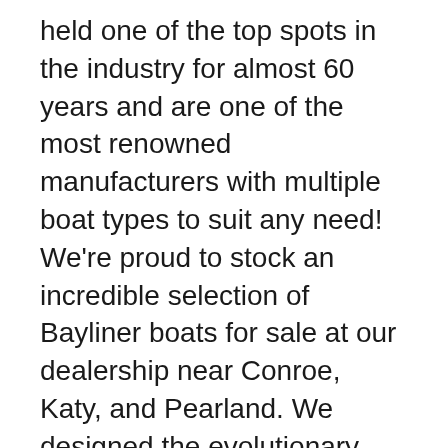held one of the top spots in the industry for almost 60 years and are one of the most renowned manufacturers with multiple boat types to suit any need! We're proud to stock an incredible selection of Bayliner boats for sale at our dealership near Conroe, Katy, and Pearland. We designed the evolutionary Bayliner Element E16 to be the start of something new.
Deutsche welle
Teak golv inne och dynor omklädda . Kapell från 2016. En nyhet för säsongen, det ljusaste fenomenet på Dnepr i Cherkassy! Snabb, superkomfortabel motorbåt (motorbåt) VIP-klass Bayliner Ciera är redo att skära  Bayliner 2855 | Motorbåt | Begagnade båtar | Scanboat Båtmarknad. Fint skick